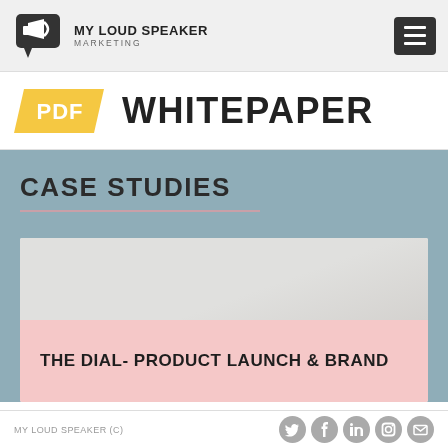MY LOUD SPEAKER MARKETING
[Figure (logo): My Loud Speaker Marketing logo with megaphone icon in speech bubble and hamburger menu icon]
PDF WHITEPAPER
CASE STUDIES
[Figure (photo): Card with textured paper background and pink label reading THE DIAL- PRODUCT LAUNCH & BRAND]
MY LOUD SPEAKER (C)